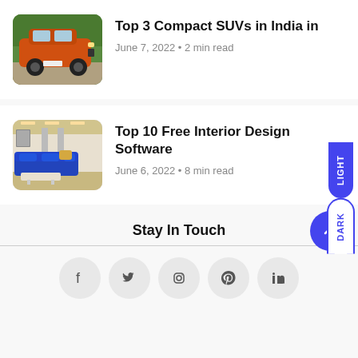[Figure (photo): Orange compact SUV (Tata Punch or similar) parked outdoors with green trees in background]
Top 3 Compact SUVs in India in
June 7, 2022 • 2 min read
[Figure (photo): Modern interior design with blue sofa, white walls, and open-plan living space]
Top 10 Free Interior Design Software
June 6, 2022 • 8 min read
Stay In Touch
[Figure (infographic): Social media icons row: Facebook, Twitter, Instagram, Pinterest, LinkedIn]